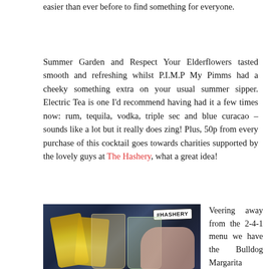easier than ever before to find something for everyone.
Summer Garden and Respect Your Elderflowers tasted smooth and refreshing whilst P.I.M.P My Pimms had a cheeky something extra on your usual summer sipper. Electric Tea is one I'd recommend having had it a few times now: rum, tequila, vodka, triple sec and blue curacao – sounds like a lot but it really does zing! Plus, 50p from every purchase of this cocktail goes towards charities supported by the lovely guys at The Hashery, what a great idea!
[Figure (photo): Photo of two inverted Corona Extra beer bottles in cocktail glasses on a bar counter, with a #HASHERY sticker/badge visible in the background.]
Veering away from the 2-4-1 menu we have the Bulldog Margarita which